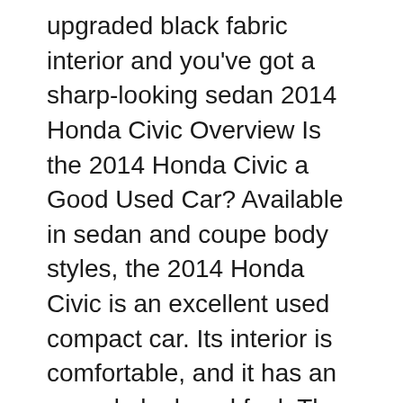upgraded black fabric interior and you've got a sharp-looking sedan 2014 Honda Civic Overview Is the 2014 Honda Civic a Good Used Car? Available in sedan and coupe body styles, the 2014 Honda Civic is an excellent used compact car. Its interior is comfortable, and it has an upscale look and feel. The Civic also rides smoothly on rough pavement and remains stable around turns. Its four-cylinder engines strike a
Edmunds has a detailed expert review of the 2014 Honda Civic EX-L Sedan. View our consumer ratings and reviews of the 2014 Civic, and see what other people are saying about the vehicle in our 2014 Honda Civic Ex Owners Manual – Amongst countless people who obtain 2014